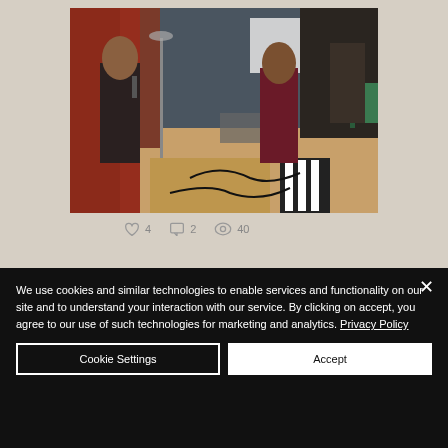[Figure (photo): Two people in a room with studio lighting equipment, red curtain, wooden floor, and a screen in the background. One person holds a microphone on the left, another person gestures on the right. Equipment and cables on the floor.]
4   2   40
Telefrausc Amodau / T&Cs   +44 (0)29 2063 5640 /   KEYCHANGE
We use cookies and similar technologies to enable services and functionality on our site and to understand your interaction with our service. By clicking on accept, you agree to our use of such technologies for marketing and analytics. Privacy Policy
Cookie Settings
Accept